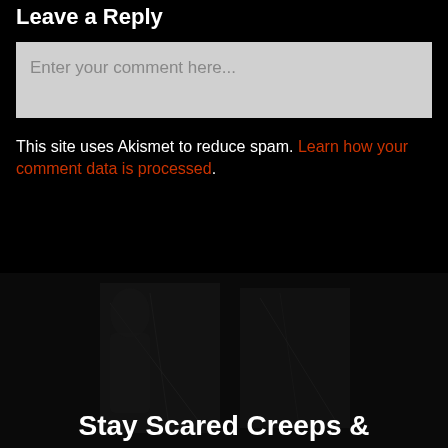Leave a Reply
Enter your comment here...
This site uses Akismet to reduce spam. Learn how your comment data is processed.
[Figure (photo): Dark background image with faint book/horror-themed imagery]
Stay Scared Creeps &